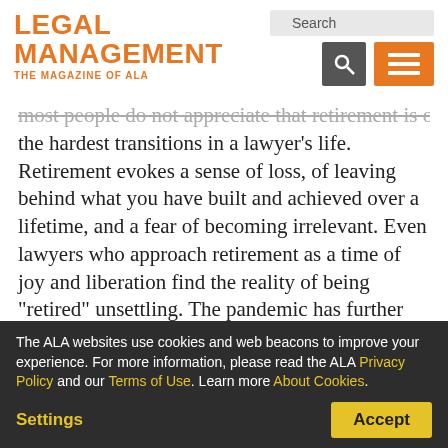LEGAL MANAGEMENT THE MAGAZINE OF ALA
Most people do not appreciate that retirement is one of the hardest transitions in a lawyer's life. Retirement evokes a sense of loss, of leaving behind what you have built and achieved over a lifetime, and a fear of becoming irrelevant. Even lawyers who approach retirement as a time of joy and liberation find the reality of being “retired” unsettling. The pandemic has further intensified the
The ALA websites use cookies and web beacons to improve your experience. For more information, please read the ALA Privacy Policy and our Terms of Use. Learn more About Cookies.
Settings
Accept